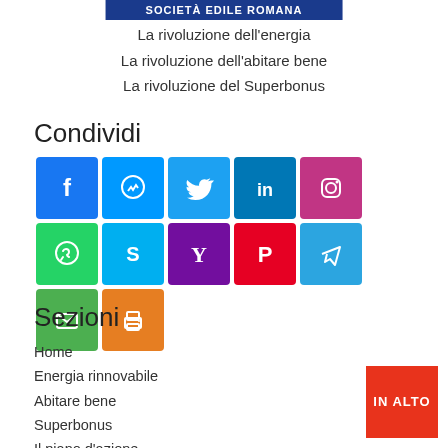SOCIETÀ EDILE ROMANA
La rivoluzione dell'energia
La rivoluzione dell'abitare bene
La rivoluzione del Superbonus
Condividi
[Figure (infographic): Social media sharing icons: Facebook, Messenger, Twitter, LinkedIn, Instagram, WhatsApp, Skype, Yahoo, Pinterest, Telegram, Email, Print]
Sezioni
Home
Energia rinnovabile
Abitare bene
Superbonus
Il piano d'azione
La rivoluzione globale
Contatti
IN ALTO